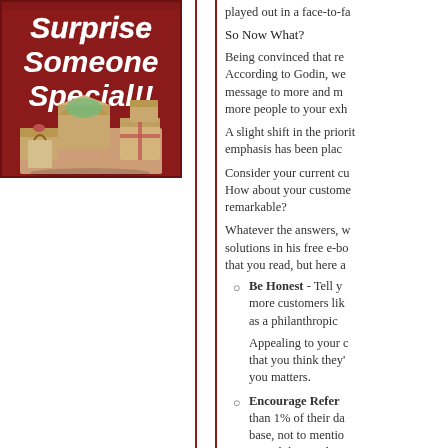[Figure (illustration): Advertisement image with dark red background showing 'Surprise Someone Special!!' text in bold italic white font with decorative gift boxes stacked below]
played out in a face-to-fa
So Now What?
Being convinced that re According to Godin, we message to more and m more people to your exh
A slight shift in the priorit emphasis has been plac
Consider your current cu How about your custome remarkable?
Whatever the answers, w solutions in his free e-bo that you read, but here a
Be Honest - Tell y more customers lik as a philanthropic
Appealing to your that you think they' you matters.
Encourage Refer than 1% of their da base, not to mentio spread the word --
Offer Incentives - Godin's idea is tha